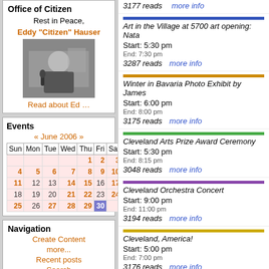3177 reads   more info
Art in the Village at 5700 art opening: Nata... Start: 5:30 pm End: 7:30 pm 3287 reads  more info
Winter in Bavaria Photo Exhibit by James... Start: 6:00 pm End: 8:00 pm 3175 reads  more info
Cleveland Arts Prize Award Ceremony Start: 5:30 pm End: 8:15 pm 3048 reads  more info
Cleveland Orchestra Concert Start: 9:00 pm End: 11:00 pm 3194 reads  more info
Cleveland, America! Start: 5:00 pm End: 7:00 pm 3176 reads  more info
Ohioan Angela Keslar on "Project Runway"... Start: 10:00 pm End: 11:00 pm 16837 reads  more info
Office of Citizen
Rest in Peace,
Eddy "Citizen" Hauser
[Figure (photo): Photo of Eddy Citizen Hauser speaking at a microphone]
Read about Ed …
Events
« June 2006 »
| Sun | Mon | Tue | Wed | Thu | Fri | Sat |
| --- | --- | --- | --- | --- | --- | --- |
|  |  |  |  | 1 | 2 | 3 |
| 4 | 5 | 6 | 7 | 8 | 9 | 10 |
| 11 | 12 | 13 | 14 | 15 | 16 | 17 |
| 18 | 19 | 20 | 21 | 22 | 23 | 24 |
| 25 | 26 | 27 | 28 | 29 | 30 |  |
Navigation
Create Content
more...
Recent posts
Search